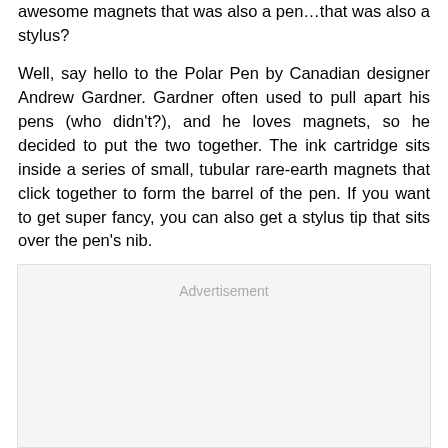awesome magnets that was also a pen…that was also a stylus?
Well, say hello to the Polar Pen by Canadian designer Andrew Gardner. Gardner often used to pull apart his pens (who didn't?), and he loves magnets, so he decided to put the two together. The ink cartridge sits inside a series of small, tubular rare-earth magnets that click together to form the barrel of the pen. If you want to get super fancy, you can also get a stylus tip that sits over the pen's nib.
[Figure (other): Advertisement placeholder box with light grey background]